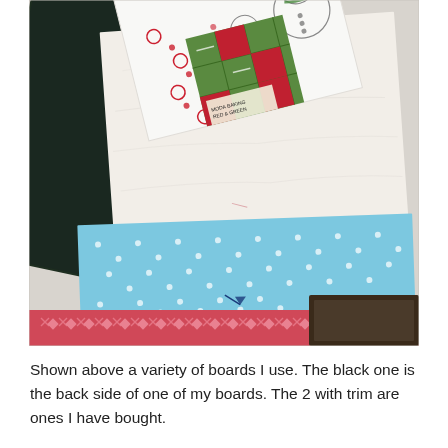[Figure (photo): Photograph of a variety of quilting/craft boards on a marble surface. Includes a dark green/black board, boards with decorative fabric trim (blue with dots and white dots, red/pink with cross and heart patterns), and a stack of Christmas-themed fabrics (snowman print, red and green patchwork squares).]
Shown above a variety of boards I use. The black one is the back side of one of my boards. The 2 with trim are ones I have bought.